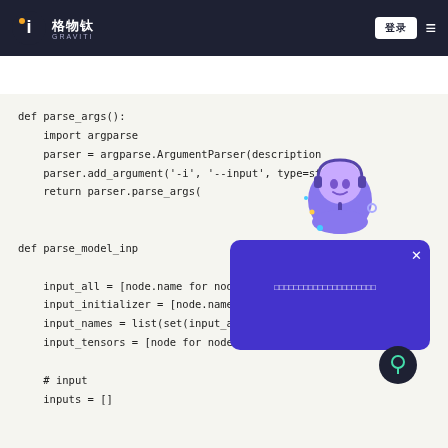格物钛 GRAVITI — navigation bar with logo, login button, and hamburger menu
🎉 □□□□□□□□□□□□! □□□□  ×
def parse_args():
    import argparse
    parser = argparse.ArgumentParser(description
    parser.add_argument('-i', '--input', type=st
    return parser.parse_args(

def parse_model_inp
    onnx_model = on
    input_all = [node.name for node in onnx_mode
    input_initializer = [node.name for nod  o
    input_names = list(set(input_all) - se  pu
    input_tensors = [node for node in onnx_model

    # input
    inputs = []
[Figure (illustration): Chat widget overlay with purple background, close button, and message text in Chinese characters. Bot avatar illustration shown above the widget with a customer service representative icon. A dark circular location/pin button is shown at bottom right of widget.]